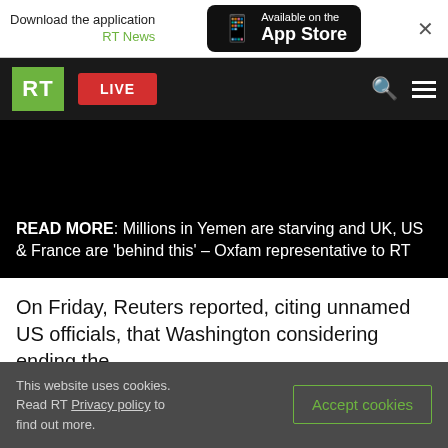Download the application RT News | Available on the App Store
[Figure (screenshot): RT news website navigation bar with green RT logo, red LIVE button, search and menu icons on dark background]
[Figure (screenshot): Black video thumbnail area with READ MORE overlay text: Millions in Yemen are starving and UK, US & France are 'behind this' – Oxfam representative to RT]
On Friday, Reuters reported, citing unnamed US officials, that Washington considering ending the
This website uses cookies. Read RT Privacy policy to find out more.